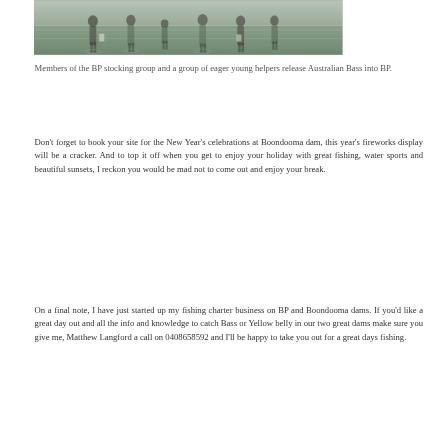[Figure (photo): People standing in shallow water, likely releasing fish into a dam or body of water. Multiple figures visible wading.]
Members of the BP stocking group and a group of eager young helpers release Australian Bass into BP.
Don't forget to book your site for the New Year's celebrations at Boondooma dam, this year's fireworks display will be a cracker. And to top it off when you get to enjoy your holiday with great fishing, water sports and beautiful sunsets, I reckon you would be mad not to come out and enjoy your break.
On a final note, I have just started up my fishing charter business on BP and Boondooma dams. If you'd like a great day out and all the info and knowledge to catch Bass or Yellow belly in our two great dams make sure you give me, Matthew Langford a call on 0408658592 and I'll be happy to take you out for a great days fishing.